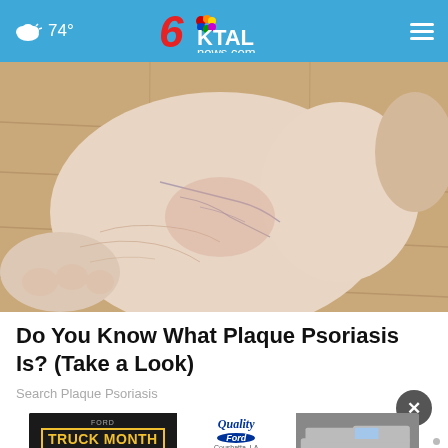74° | 6KTAL news.com
[Figure (photo): Close-up photograph of the underside of a human foot/heel showing skin with veins and texture, held up against a wooden floor background.]
Do You Know What Plaque Psoriasis Is? (Take a Look)
Search Plaque Psoriasis
[Figure (photo): Ford Truck Month advertisement banner showing a Ford truck with 'Quality Ford, Coushatta, LA, Learn More' text and 'This Is Your Month' tagline.]